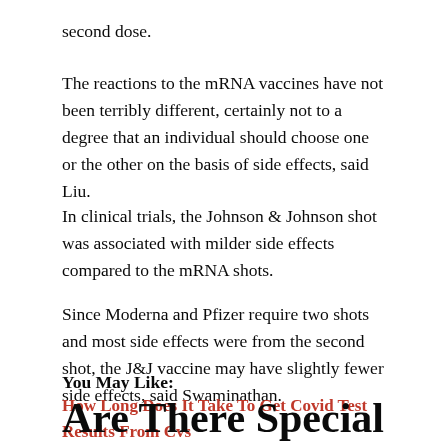second dose.
The reactions to the mRNA vaccines have not been terribly different, certainly not to a degree that an individual should choose one or the other on the basis of side effects, said Liu.
In clinical trials, the Johnson & Johnson shot was associated with milder side effects compared to the mRNA shots.
Since Moderna and Pfizer require two shots and most side effects were from the second shot, the J&J vaccine may have slightly fewer side effects, said Swaminathan.
You May Like: How Long Does It Take To Get Covid Test Results From Cvs
Are There Special Side Effects To